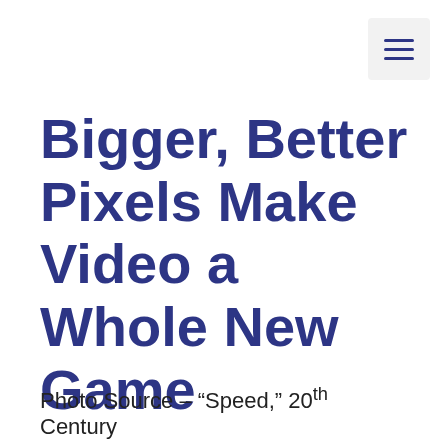[Figure (other): Hamburger menu icon button (three horizontal lines) in a rounded square box, top-right corner]
Bigger, Better Pixels Make Video a Whole New Game
June 1, 2012 by Andy Marken
Photo Source – “Speed,” 20th Century